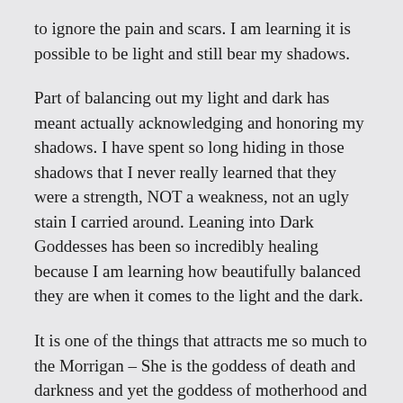to ignore the pain and scars. I am learning it is possible to be light and still bear my shadows.
Part of balancing out my light and dark has meant actually acknowledging and honoring my shadows. I have spent so long hiding in those shadows that I never really learned that they were a strength, NOT a weakness, not an ugly stain I carried around. Leaning into Dark Goddesses has been so incredibly healing because I am learning how beautifully balanced they are when it comes to the light and the dark.
It is one of the things that attracts me so much to the Morrigan – She is the goddess of death and darkness and yet the goddess of motherhood and light and fertility and harvest. It's this balance of the light and the dark that is helping me bring my own light and dark back